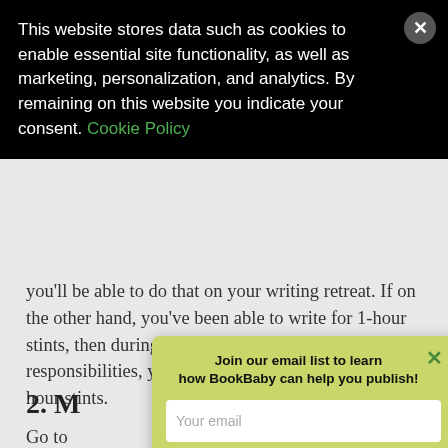This website stores data such as cookies to enable essential site functionality, as well as marketing, personalization, and analytics. By remaining on this website you indicate your consent. Cookie Policy
you'll be able to do that on your writing retreat. If on the other hand, you've been able to write for 1-hour stints, then during your retreat, with no other responsibilities, you could perhaps do two to three 1-hour stints.
2. M
Go to ... afe, diner, ...oom, or din ...afe-hoppe...en stopp...ral
[Figure (screenshot): Email signup popup modal with green background, title 'Join our email list to learn how BookBaby can help you publish!', email input field, and 'Sign Me Up' button]